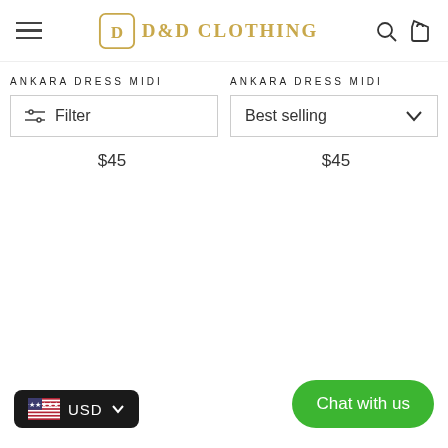D&D CLOTHING
ANKARA DRESS MIDI
Filter
ANKARA DRESS MIDI
Best selling
$45
$45
USD
Chat with us